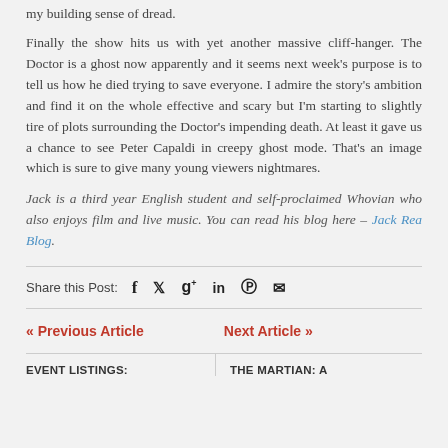my building sense of dread.
Finally the show hits us with yet another massive cliffhanger. The Doctor is a ghost now apparently and it seems next week's purpose is to tell us how he died trying to save everyone. I admire the story's ambition and find it on the whole effective and scary but I'm starting to slightly tire of plots surrounding the Doctor's impending death. At least it gave us a chance to see Peter Capaldi in creepy ghost mode. That's an image which is sure to give many young viewers nightmares.
Jack is a third year English student and self-proclaimed Whovian who also enjoys film and live music. You can read his blog here – Jack Rea Blog.
Share this Post:
« Previous Article
Next Article »
EVENT LISTINGS:
THE MARTIAN: A